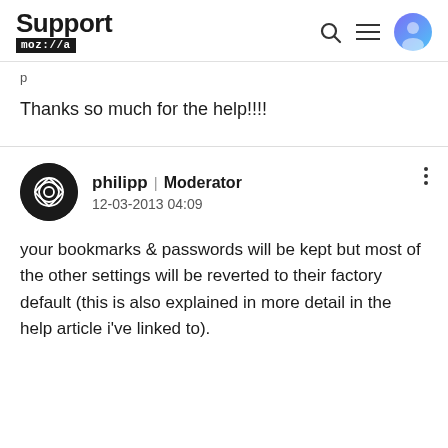Support moz://a
Thanks so much for the help!!!!
philipp | Moderator
12-03-2013 04:09
your bookmarks & passwords will be kept but most of the other settings will be reverted to their factory default (this is also explained in more detail in the help article i've linked to).